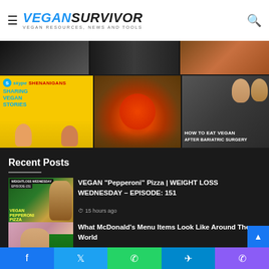VEGANSURVIVOR — VEGAN RESOURCES, NEWS AND TOOLS
[Figure (screenshot): Video thumbnail grid row 1 - partially visible thumbnails]
[Figure (screenshot): Video thumbnail grid row 2 - Skype Shenanigans (Sharing Vegan Stories), food/tacos thumbnail, How To Eat Vegan After Bariatric Surgery]
Recent Posts
[Figure (screenshot): VEGAN Pepperoni Pizza post thumbnail with episode 151 label and person in green shirt]
VEGAN "Pepperoni" Pizza | WEIGHT LOSS WEDNESDAY – EPISODE: 151
15 hours ago
[Figure (photo): McDonald's post thumbnail showing person holding food]
What McDonald's Menu Items Look Like Around The World
15 hours ago